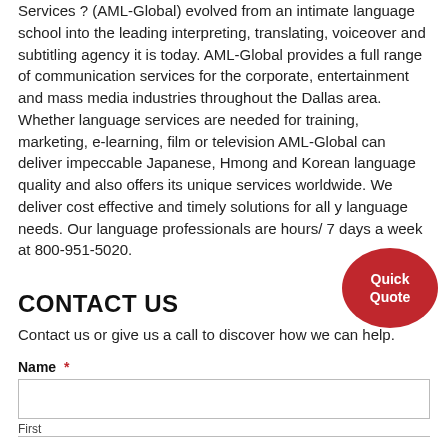Services ? (AML-Global) evolved from an intimate language school into the leading interpreting, translating, voiceover and subtitling agency it is today. AML-Global provides a full range of communication services for the corporate, entertainment and mass media industries throughout the Dallas area. Whether language services are needed for training, marketing, e-learning, film or television AML-Global can deliver impeccable Japanese, Hmong and Korean language quality and also offers its unique services worldwide. We deliver cost effective and timely solutions for all your language needs. Our language professionals are available 24 hours/ 7 days a week at 800-951-5020.
[Figure (other): Red oval button with white text 'Quick Quote']
CONTACT US
Contact us or give us a call to discover how we can help.
Name *
First